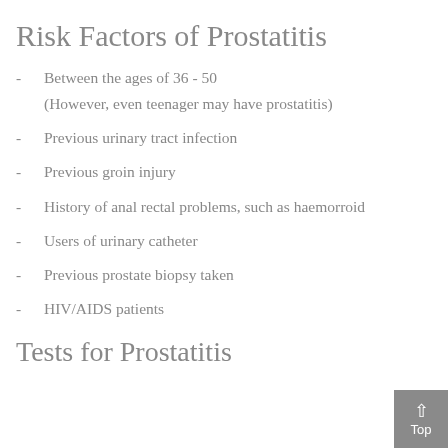Risk Factors of Prostatitis
Between the ages of 36 - 50
(However, even teenager may have prostatitis)
Previous urinary tract infection
Previous groin injury
History of anal rectal problems, such as haemorroid
Users of urinary catheter
Previous prostate biopsy taken
HIV/AIDS patients
Tests for Prostatitis